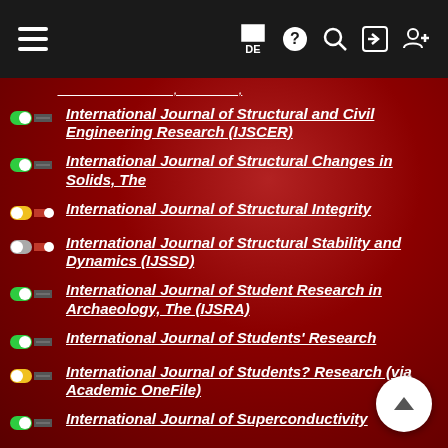Navigation bar with hamburger menu, flag/DE, help, search, login, register icons
International Journal of Structural and Civil Engineering Research (IJSCER)
International Journal of Structural Changes in Solids, The
International Journal of Structural Integrity
International Journal of Structural Stability and Dynamics (IJSSD)
International Journal of Student Research in Archaeology, The (IJSRA)
International Journal of Students' Research
International Journal of Students? Research (via Academic OneFile)
International Journal of Superconductivity